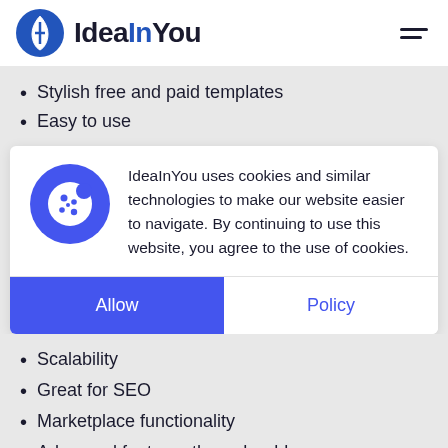IdeaInYou
Stylish free and paid templates
Easy to use
IdeaInYou uses cookies and similar technologies to make our website easier to navigate. By continuing to use this website, you agree to the use of cookies.
Scalability
Great for SEO
Marketplace functionality
Advanced features through add-ons